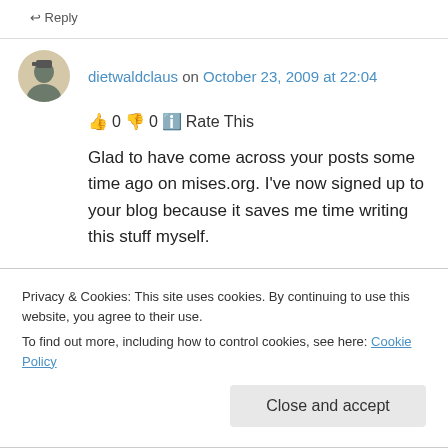↩ Reply
dietwaldclaus on October 23, 2009 at 22:04
👍 0 👎 0 ℹ Rate This
Glad to have come across your posts some time ago on mises.org. I've now signed up to your blog because it saves me time writing this stuff myself.

Same logic applies to adoption (which should better be known as acquisition of parental
Privacy & Cookies: This site uses cookies. By continuing to use this website, you agree to their use.
To find out more, including how to control cookies, see here: Cookie Policy
Close and accept